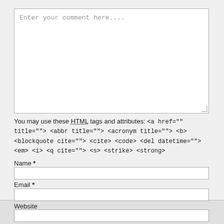[Figure (screenshot): A web comment form with a large textarea placeholder saying 'Enter your comment here...' followed by a note about allowed HTML tags, then form fields for Name, Email, Website, and a Post Comment button.]
You may use these HTML tags and attributes: <a href="" title=""> <abbr title=""> <acronym title=""> <b> <blockquote cite=""> <cite> <code> <del datetime=""> <em> <i> <q cite=""> <s> <strike> <strong>
Name *
Email *
Website
Post Comment